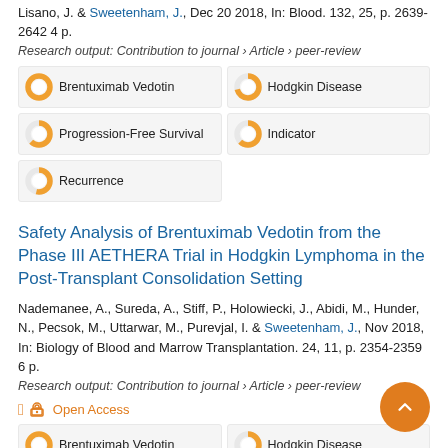Lisano, J. & Sweetenham, J., Dec 20 2018, In: Blood. 132, 25, p. 2639-2642 4 p.
Research output: Contribution to journal › Article › peer-review
[Figure (infographic): Keyword pills with donut-style percentage indicators: Brentuximab Vedotin (100%), Hodgkin Disease (~70%), Progression-Free Survival (~62%), Indicator (~62%), Recurrence (~53%)]
Safety Analysis of Brentuximab Vedotin from the Phase III AETHERA Trial in Hodgkin Lymphoma in the Post-Transplant Consolidation Setting
Nademanee, A., Sureda, A., Stiff, P., Holowiecki, J., Abidi, M., Hunder, N., Pecsok, M., Uttarwar, M., Purevjal, I. & Sweetenham, J., Nov 2018, In: Biology of Blood and Marrow Transplantation. 24, 11, p. 2354-2359 6 p.
Research output: Contribution to journal › Article › peer-review
Open Access
[Figure (infographic): Keyword pills with donut-style percentage indicators: Brentuximab Vedotin (100%), Hodgkin Disease (~67%)]